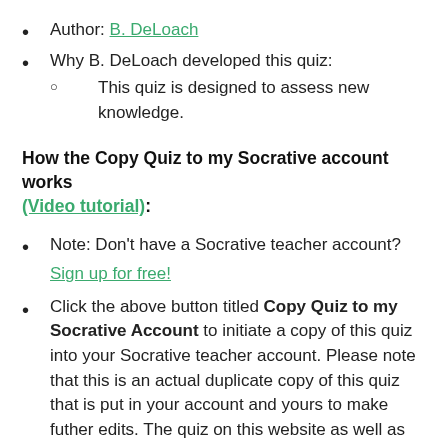Author: B. DeLoach
Why B. DeLoach developed this quiz: This quiz is designed to assess new knowledge.
How the Copy Quiz to my Socrative account works (Video tutorial):
Note: Don't have a Socrative teacher account? Sign up for free!
Click the above button titled Copy Quiz to my Socrative Account to initiate a copy of this quiz into your Socrative teacher account. Please note that this is an actual duplicate copy of this quiz that is put in your account and yours to make futher edits. The quiz on this website as well as the original author's Socrative account will not be affected by any changes you make to the copy of this quiz in